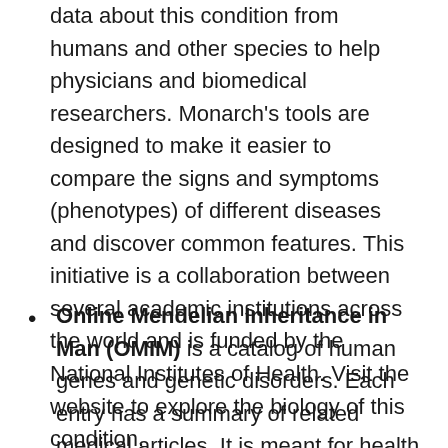data about this condition from humans and other species to help physicians and biomedical researchers. Monarch's tools are designed to make it easier to compare the signs and symptoms (phenotypes) of different diseases and discover common features. This initiative is a collaboration between several academic institutions across the world and is funded by the National Institutes of Health. Visit the website to explore the biology of this condition.
Online Mendelian Inheritance in Man (OMIM) is a catalog of human genes and genetic disorders. Each entry has a summary of related medical articles. It is meant for health care professionals